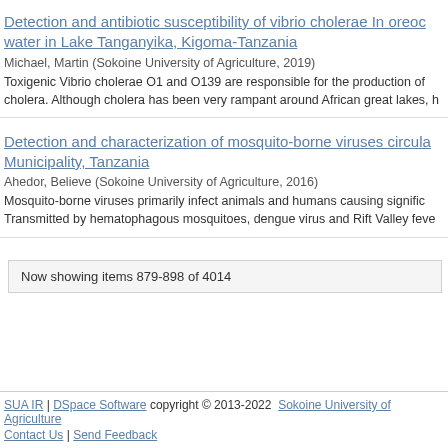Detection and antibiotic susceptibility of vibrio cholerae In oreoc water in Lake Tanganyika, Kigoma-Tanzania
Michael, Martin (Sokoine University of Agriculture, 2019)
Toxigenic Vibrio cholerae O1 and O139 are responsible for the production of cholera. Although cholera has been very rampant around African great lakes, h
Detection and characterization of mosquito-borne viruses circula Municipality, Tanzania
Ahedor, Believe (Sokoine University of Agriculture, 2016)
Mosquito-borne viruses primarily infect animals and humans causing signific Transmitted by hematophagous mosquitoes, dengue virus and Rift Valley feve
Now showing items 879-898 of 4014
SUA IR | DSpace Software copyright © 2013-2022  Sokoine University of Agriculture Contact Us | Send Feedback